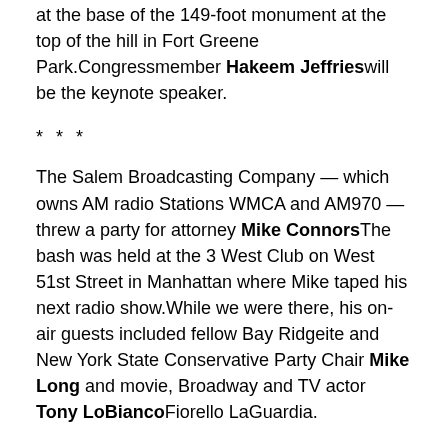at the base of the 149-foot monument at the top of the hill in Fort Greene Park.Congressmember Hakeem Jeffrieswill be the keynote speaker.
* * *
The Salem Broadcasting Company — which owns AM radio Stations WMCA and AM970 — threw a party for attorney Mike ConnorsThe bash was held at the 3 West Club on West 51st Street in Manhattan where Mike taped his next radio show.While we were there, his on-air guests included fellow Bay Ridgeite and New York State Conservative Party Chair Mike Long and movie, Broadway and TV actor Tony LoBiancoFiorello LaGuardia.
* * *